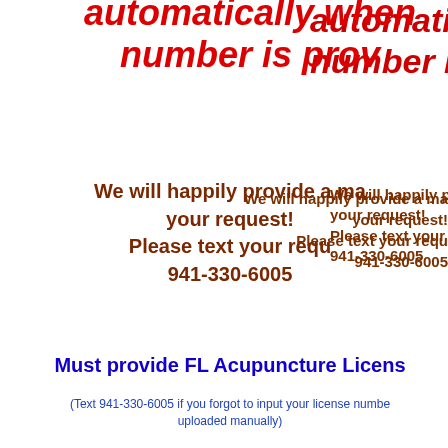automatically when number is prov
We will happily provide a ma your request! Please text your requ 941-330-6005
Must provide FL Acupuncture Licens
(Text 941-330-6005 if you forgot to input your license numbe uploaded manually)
All courses are approved by NCCAO Board of Acupunctu
Check each course page for details o approved for each cou
Completed Course Cre